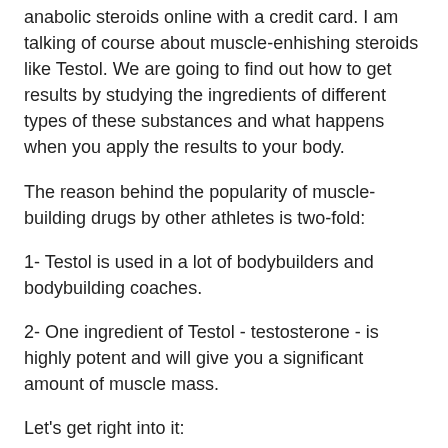anabolic steroids online with a credit card. I am talking of course about muscle-enhishing steroids like Testol. We are going to find out how to get results by studying the ingredients of different types of these substances and what happens when you apply the results to your body.
The reason behind the popularity of muscle-building drugs by other athletes is two-fold:
1- Testol is used in a lot of bodybuilders and bodybuilding coaches.
2- One ingredient of Testol - testosterone - is highly potent and will give you a significant amount of muscle mass.
Let's get right into it:
Testol is odd that it will for some be...